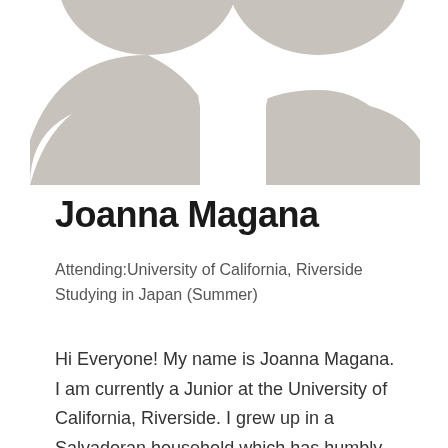[Figure (illustration): Partial view of a default user/profile avatar silhouette in gray, cropped at top of page showing two shoulder/head shapes]
Joanna Magana
Attending:University of California, Riverside
Studying in Japan (Summer)
Hi Everyone! My name is Joanna Magana. I am currently a Junior at the University of California, Riverside. I grew up in a Salvadoran household which has humbly